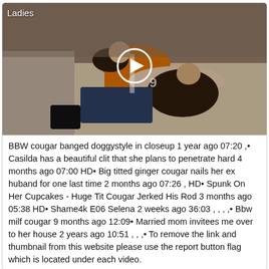[Figure (photo): Video thumbnail showing two people on a couch with a play button overlay and 'Ladies' label in top left corner]
BBW cougar banged doggystyle in closeup 1 year ago 07:20 ,• Casilda has a beautiful clit that she plans to penetrate hard 4 months ago 07:00 HD• Big titted ginger cougar nails her ex huband for one last time 2 months ago 07:26 , HD• Spunk On Her Cupcakes - Huge Tit Cougar Jerked His Rod 3 months ago 05:38 HD• Shame4k E06 Selena 2 weeks ago 36:03 , , , ,• Bbw milf cougar 9 months ago 12:09• Married mom invitees me over to her house 2 years ago 10:51 , , ,• To remove the link and thumbnail from this website please use the report button flag which is located under each video.